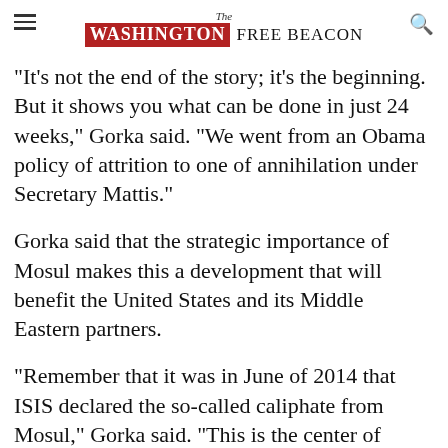The Washington Free Beacon
"It's not the end of the story; it's the beginning. But it shows you what can be done in just 24 weeks," Gorka said. "We went from an Obama policy of attrition to one of annihilation under Secretary Mattis."
Gorka said that the strategic importance of Mosul makes this a development that will benefit the United States and its Middle Eastern partners.
"Remember that it was in June of 2014 that ISIS declared the so-called caliphate from Mosul," Gorka said. "This is the center of gravity of the jihadi movement, and thanks to our Iraqi partners, thanks to U.S. forces that are assisting them,